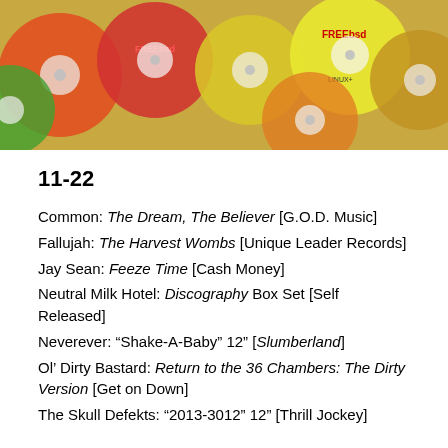[Figure (photo): A collection of colorful CDs and DVDs scattered together, including FreeBSD and Linux installation discs among others.]
11-22
Common: The Dream, The Believer [G.O.D. Music]
Fallujah: The Harvest Wombs [Unique Leader Records]
Jay Sean: Feeze Time [Cash Money]
Neutral Milk Hotel: Discography Box Set [Self Released]
Neverever: “Shake-A-Baby” 12” [Slumberland]
Ol’ Dirty Bastard: Return to the 36 Chambers: The Dirty Version [Get on Down]
The Skull Defekts: “2013-3012” 12” [Thrill Jockey]
Share stuff: